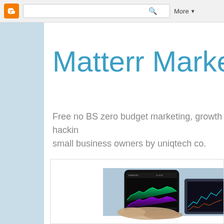Blogger toolbar with search and More button
Matterr Marke
Free no BS zero budget marketing, growth hacking small business owners by uniqtech co.
[Figure (photo): Hands holding a smartphone displaying stock market charts with green and purple area charts, alongside a tablet showing financial data charts in the background]